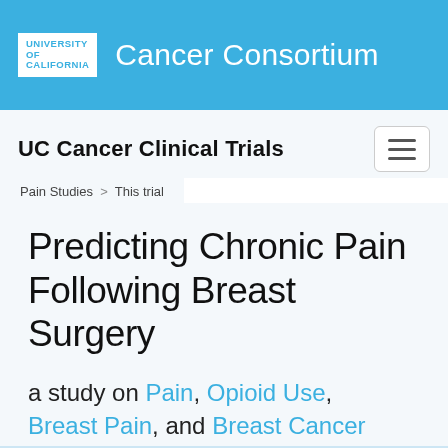UNIVERSITY OF CALIFORNIA  Cancer Consortium
UC Cancer Clinical Trials
Pain Studies > This trial
Predicting Chronic Pain Following Breast Surgery
a study on Pain, Opioid Use, Breast Pain, and Breast Cancer